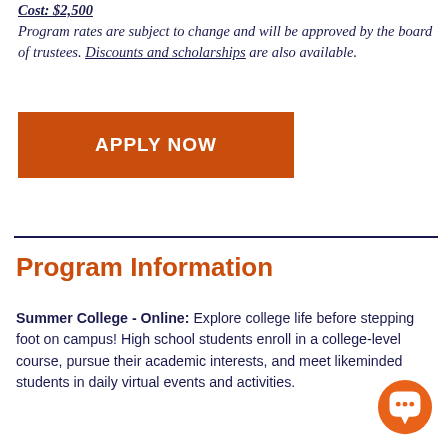Cost: $2,500 Program rates are subject to change and will be approved by the board of trustees. Discounts and scholarships are also available.
[Figure (other): Orange 'APPLY NOW' button]
Program Information
Summer College - Online: Explore college life before stepping foot on campus! High school students enroll in a college-level course, pursue their academic interests, and meet likeminded students in daily virtual events and activities.